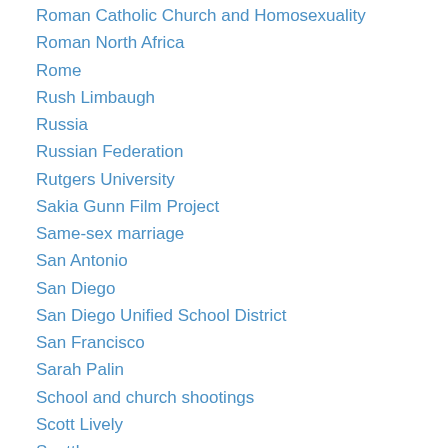Roman Catholic Church and Homosexuality
Roman North Africa
Rome
Rush Limbaugh
Russia
Russian Federation
Rutgers University
Sakia Gunn Film Project
Same-sex marriage
San Antonio
San Diego
San Diego Unified School District
San Francisco
Sarah Palin
School and church shootings
Scott Lively
Seattle
Secretary of State Hillary Clinton
Self-defense classes for LGBTQ people
Senator Jesse Helms